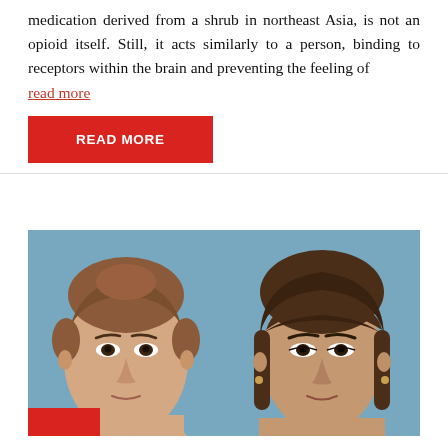medication derived from a shrub in northeast Asia, is not an opioid itself. Still, it acts similarly to a person, binding to receptors within the brain and preventing the feeling of
read more
READ MORE
[Figure (photo): Two side-by-side portrait photographs of young women against a blue background. Left: woman with auburn hair pulled back. Right: woman with dark brown bangs. A red bar appears at the bottom left of the left photo.]